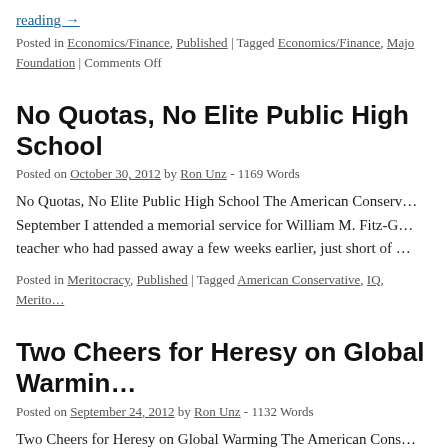reading →
Posted in Economics/Finance, Published | Tagged Economics/Finance, Majo Foundation | Comments Off
No Quotas, No Elite Public High School
Posted on October 30, 2012 by Ron Unz - 1169 Words
No Quotas, No Elite Public High School The American Conserv… September I attended a memorial service for William M. Fitz-G… teacher who had passed away a few weeks earlier, just short of …
Posted in Meritocracy, Published | Tagged American Conservative, IQ, Merito…
Two Cheers for Heresy on Global Warming
Posted on September 24, 2012 by Ron Unz - 1132 Words
Two Cheers for Heresy on Global Warming The American Cons… encountered the strong case for global warming in the early 197…